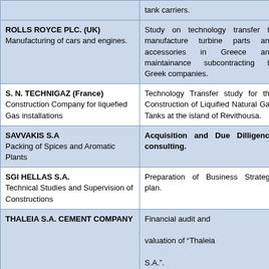| Company | Description |
| --- | --- |
| ROLLS ROYCE PLC. (UK)
Manufacturing of cars and engines. | Study on technology transfer to manufacture turbine parts and accessories in Greece and maintainance subcontracting to Greek companies. |
| S. N. TECHNIGAZ (France)
Construction Company for liquefied Gas installations | Technology Transfer study for the Construction of Liquified Natural Gas Tanks at the island of Revithousa. |
| SAVVAKIS S.A
Packing of Spices and Aromatic Plants | Acquisition and Due Dilligence consulting. |
| SGI HELLAS S.A.
Technical Studies and Supervision of Constructions | Preparation of Business Strategy plan. |
| THALEIA S.A. CEMENT COMPANY | Financial audit and valuation of "Thaleia S.A.". |
| TOMAS S.A. (France) | Preparing the 5-year |